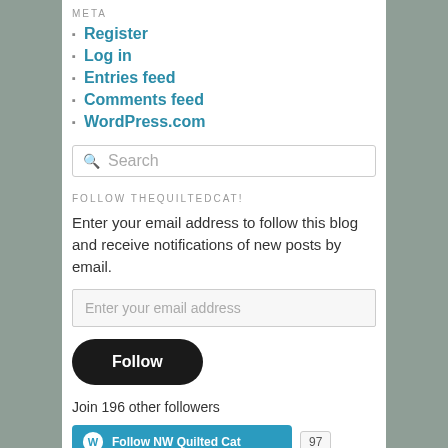META
Register
Log in
Entries feed
Comments feed
WordPress.com
FOLLOW THEQUILTEDCAT!
Enter your email address to follow this blog and receive notifications of new posts by email.
Join 196 other followers